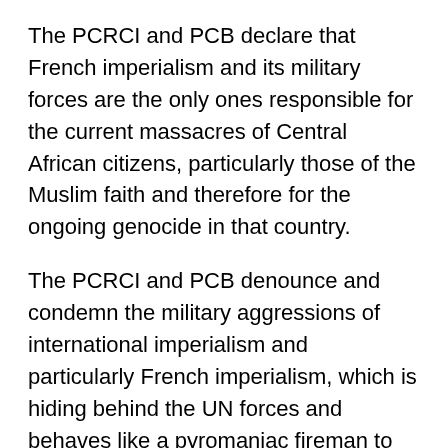The PCRCI and PCB declare that French imperialism and its military forces are the only ones responsible for the current massacres of Central African citizens, particularly those of the Muslim faith and therefore for the ongoing genocide in that country.
The PCRCI and PCB denounce and condemn the military aggressions of international imperialism and particularly French imperialism, which is hiding behind the UN forces and behaves like a pyromaniac fireman to maintain its African backyard.
They pay tribute to all Africans who fell victim to the bullets of the French interventionist aggressors, whether in Libya, Ivory Coast, Mali, Central Africa, etc. And they declare them heroes and martyrs of African patriotism.
8) The PCRCI and PCB and...